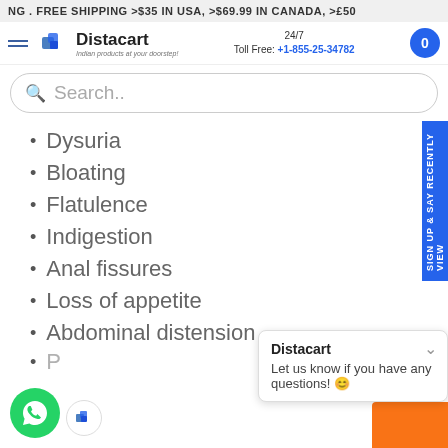NG . FREE SHIPPING >$35 IN USA, >$69.99 IN CANADA, >£50
[Figure (logo): Distacart logo with tagline 'Indian products at your doorstep!' and 24/7 Toll Free contact number +1-855-25-34782]
[Figure (screenshot): Search bar with placeholder text 'Search..']
Dysuria
Bloating
Flatulence
Indigestion
Anal fissures
Loss of appetite
Abdominal distension
P...
Distacart
Let us know if you have any questions! 😊